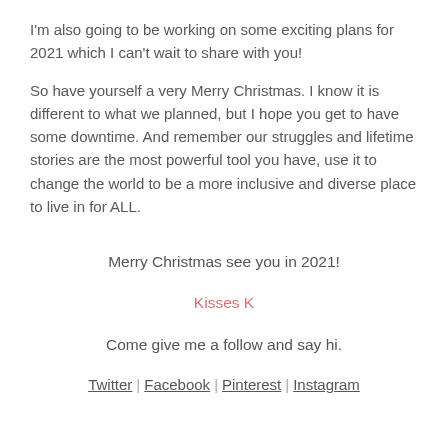I'm also going to be working on some exciting plans for 2021 which I can't wait to share with you!
So have yourself a very Merry Christmas. I know it is different to what we planned, but I hope you get to have some downtime. And remember our struggles and lifetime stories are the most powerful tool you have, use it to change the world to be a more inclusive and diverse place to live in for ALL.
Merry Christmas see you in 2021!
Kisses K
Come give me a follow and say hi.
Twitter | Facebook | Pinterest | Instagram